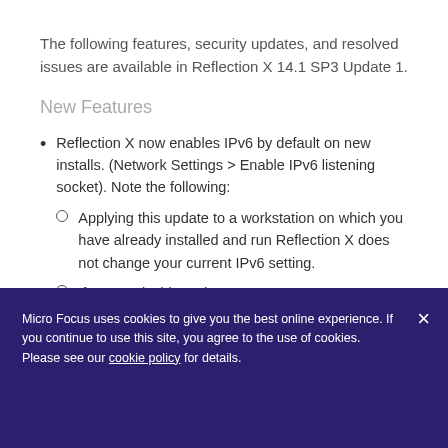The following features, security updates, and resolved issues are available in Reflection X 14.1 SP3 Update 1.
New Features
Reflection X now enables IPv6 by default on new installs. (Network Settings > Enable IPv6 listening socket). Note the following:
Applying this update to a workstation on which you have already installed and run Reflection X does not change your current IPv6 setting.
If you apply this update to an
Micro Focus uses cookies to give you the best online experience. If you continue to use this site, you agree to the use of cookies. Please see our cookie policy for details.